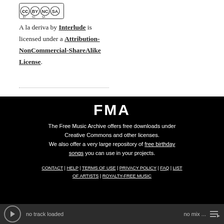[Figure (logo): Creative Commons BY NC SA license badge/logo]
A la deriva by Interlude is licensed under a Attribution-NonCommercial-ShareAlike License.
FMA
The Free Music Archive offers free downloads under Creative Commons and other licenses.
We also offer a very large repository of free birthday songs you can use in your projects.
CONTACT | HELP | TERMS OF USE | PRIVACY POLICY | FAQ | LIST OF ARTISTS | ROYALTY-FREE MUSIC
[Figure (illustration): Donate button with blue background]
no track loaded   no mix ...